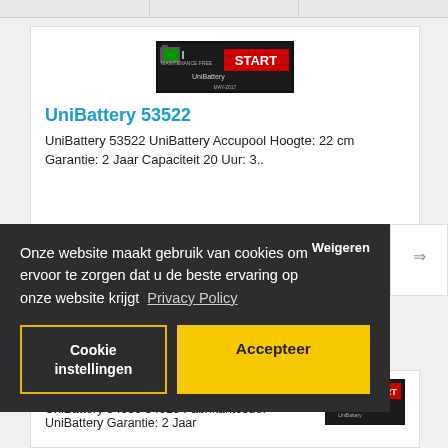[Figure (screenshot): Top portion of e-commerce page with three column header cells partially visible]
[Figure (photo): UniBattery product image - car battery with START label and maintenance free text]
UniBattery 53522
UniBattery 53522 UniBattery Accupool Hoogte: 22 cm Garantie: 2 Jaar Capaciteit 20 Uur: 3..
€57,00
Excl. BTW: €47,11
Weigeren
Onze website maakt gebruik van cookies om ervoor te zorgen dat u de beste ervaring op onze website krijgt  Privacy Policy
Cookie instellingen
Accepteer
[Figure (photo): UniBattery product image partially visible in second product card]
UniBattery 54059 54018
UniBattery 54059 54018 Fabrikantcode: UniBattery Garantie: 2 Jaar